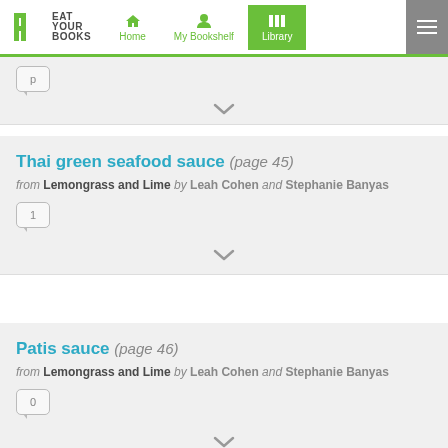Eat Your Books — Home | My Bookshelf | Library
(partial card with comment badge)
Thai green seafood sauce (page 45)
from Lemongrass and Lime by Leah Cohen and Stephanie Banyas
1 (comment count)
Patis sauce (page 46)
from Lemongrass and Lime by Leah Cohen and Stephanie Banyas
0 (comment count)